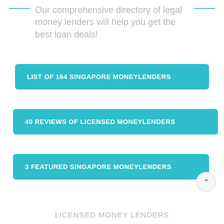Our comprehensive directory of legal money lenders will help you get the best loan deals!
LIST OF 164 SINGAPORE MONEYLENDERS
40 REVIEWS OF LICENSED MONEYLENDERS
3 FEATURED SINGAPORE MONEYLENDERS
LICENSED MONEY LENDERS